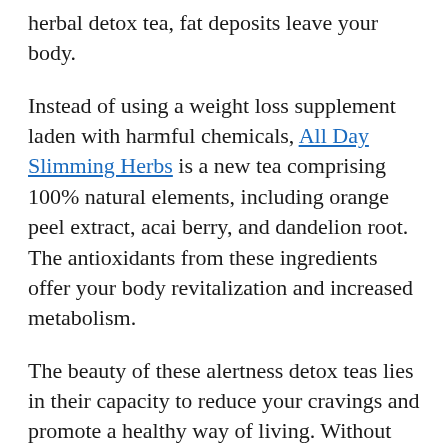herbal detox tea, fat deposits leave your body.
Instead of using a weight loss supplement laden with harmful chemicals, All Day Slimming Herbs is a new tea comprising 100% natural elements, including orange peel extract, acai berry, and dandelion root. The antioxidants from these ingredients offer your body revitalization and increased metabolism.
The beauty of these alertness detox teas lies in their capacity to reduce your cravings and promote a healthy way of living. Without affecting your overall diet, the dandelion root tea can target the fat cells and cause them to give up in the body. These caffeine-free tea sachets are very simple to use. Just mix one sachet with your cup of tea in the morning/evening and lose weight instantly.